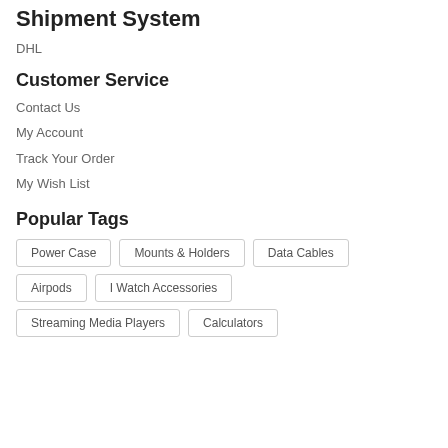Shipment System
DHL
Customer Service
Contact Us
My Account
Track Your Order
My Wish List
Popular Tags
Power Case
Mounts & Holders
Data Cables
Airpods
I Watch Accessories
Streaming Media Players
Calculators